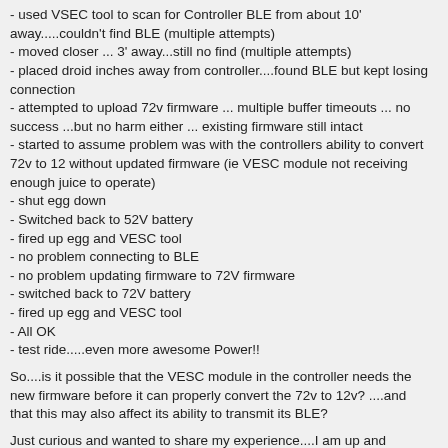- used VSEC tool to scan for Controller BLE from about 10' away.....couldn't find BLE (multiple attempts)
- moved closer ... 3' away...still no find (multiple attempts)
- placed droid inches away from controller....found BLE but kept losing connection
- attempted to upload 72v firmware ... multiple buffer timeouts ... no success ...but no harm either ... existing firmware still intact
- started to assume problem was with the controllers ability to convert 72v to 12 without updated firmware (ie VESC module not receiving enough juice to operate)
- shut egg down
- Switched back to 52V battery
- fired up egg and VESC tool
- no problem connecting to BLE
- no problem updating firmware to 72V firmware
- switched back to 72V battery
- fired up egg and VESC tool
- All OK
- test ride.....even more awesome Power!!
So....is it possible that the VESC module in the controller needs the new firmware before it can properly convert the 72v to 12v? ....and that this may also affect its ability to transmit its BLE?
Just curious and wanted to share my experience....I am up and running.
Last edited by StvMan; 04-22-2021, 05:48 PM.